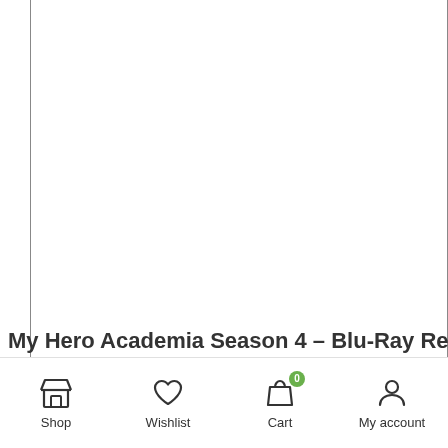[Figure (screenshot): Mostly blank white content area of a webpage, with thin left and right border lines visible.]
My Hero Academia Season 4 – Blu-Ray Review
Shop | Wishlist | Cart (0) | My account